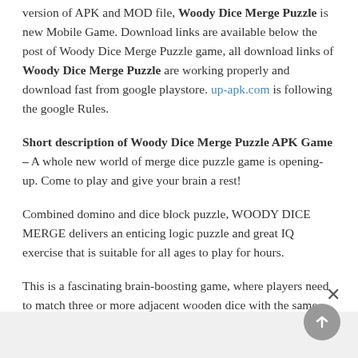version of APK and MOD file, Woody Dice Merge Puzzle is new Mobile Game. Download links are available below the post of Woody Dice Merge Puzzle game, all download links of Woody Dice Merge Puzzle are working properly and download fast from google playstore. up-apk.com is following the google Rules.
Short description of Woody Dice Merge Puzzle APK Game – A whole new world of merge dice puzzle game is opening-up. Come to play and give your brain a rest!
Combined domino and dice block puzzle, WOODY DICE MERGE delivers an enticing logic puzzle and great IQ exercise that is suitable for all ages to play for hours.
This is a fascinating brain-boosting game, where players need to match three or more adjacent wooden dice with the same pips to merge them horizontally, vertically, or both. The bigger